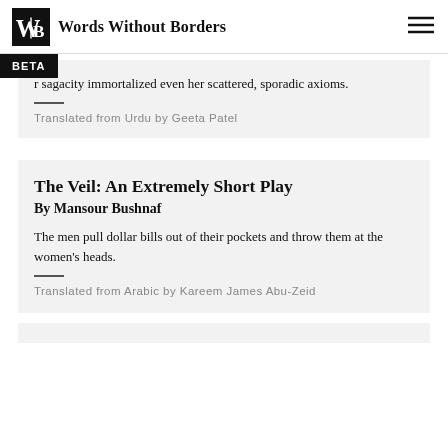Words Without Borders
r sagacity immortalized even her scattered, sporadic axioms.
Translated from Urdu by Geeta Patel
The Veil: An Extremely Short Play
By Mansour Bushnaf
The men pull dollar bills out of their pockets and throw them at the women’s heads.
Translated from Arabic by Kareem James Abu-Zeid